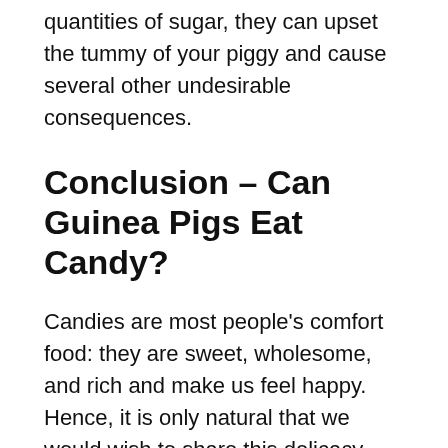quantities of sugar, they can upset the tummy of your piggy and cause several other undesirable consequences.
Conclusion – Can Guinea Pigs Eat Candy?
Candies are most people's comfort food: they are sweet, wholesome, and rich and make us feel happy. Hence, it is only natural that we would wish to share this delicacy with your guinea pig.
Although you can give a tiny bit of your